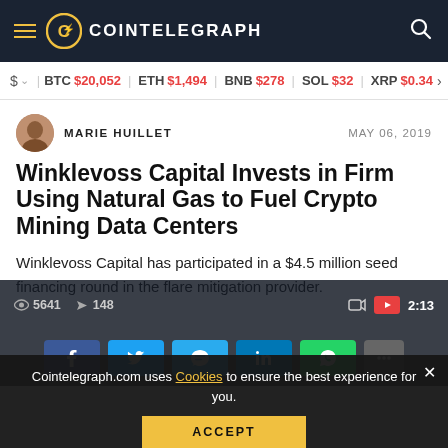COINTELEGRAPH
$ BTC $20,052  ETH $1,494  BNB $278  SOL $32  XRP $0.34
MARIE HUILLET  MAY 06, 2019
Winklevoss Capital Invests in Firm Using Natural Gas to Fuel Crypto Mining Data Centers
Winklevoss Capital has participated in a $4.5 million seed financing round in the flare mitigation provider.
Cointelegraph.com uses Cookies to ensure the best experience for you.
ACCEPT